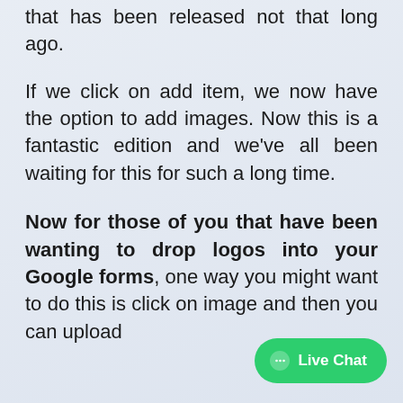that has been released not that long ago.
If we click on add item, we now have the option to add images. Now this is a fantastic edition and we've all been waiting for this for such a long time.
Now for those of you that have been wanting to drop logos into your Google forms, one way you might want to do this is click on image and then you can upload